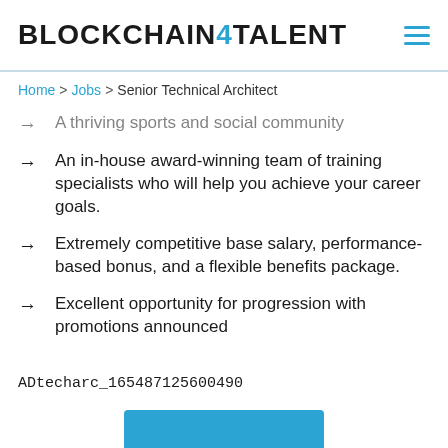[Figure (logo): Blockchain4Talent logo with blue 4 digit]
Home > Jobs > Senior Technical Architect
A thriving sports and social community
An in-house award-winning team of training specialists who will help you achieve your career goals.
Extremely competitive base salary, performance-based bonus, and a flexible benefits package.
Excellent opportunity for progression with promotions announced
ADtecharc_165487125600490